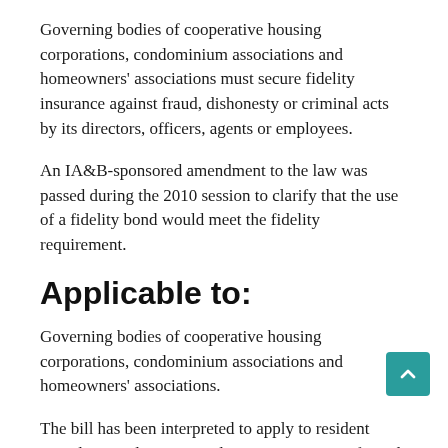Governing bodies of cooperative housing corporations, condominium associations and homeowners' associations must secure fidelity insurance against fraud, dishonesty or criminal acts by its directors, officers, agents or employees.
An IA&B-sponsored amendment to the law was passed during the 2010 session to clarify that the use of a fidelity bond would meet the fidelity requirement.
Applicable to:
Governing bodies of cooperative housing corporations, condominium associations and homeowners' associations.
The bill has been interpreted to apply to residential, mixed-use and commercial properties. We confirmed